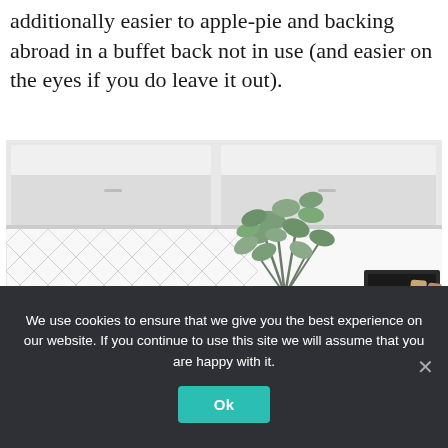additionally easier to apple-pie and backing abroad in a buffet back not in use (and easier on the eyes if you do leave it out).
[Figure (photo): A modern kitchen interior with white cabinets, geometric diamond-pattern tile backsplash, a glass vase with green eucalyptus branches, a black letter board with text, and wooden cutting boards on a white counter.]
We use cookies to ensure that we give you the best experience on our website. If you continue to use this site we will assume that you are happy with it.